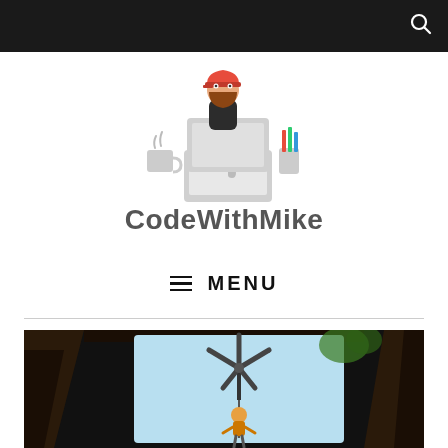[Figure (logo): CodeWithMike logo: cartoon man with red cap and beard sitting at laptop, with coffee cup and pencil holder. Text: CodeWithMike]
≡ MENU
[Figure (photo): Dark photo taken from below looking up through wooden rafters/beams at a skylight or opening, with a windmill weather vane silhouetted against a bright sky, and a person in safety gear rappelling or hanging below it]